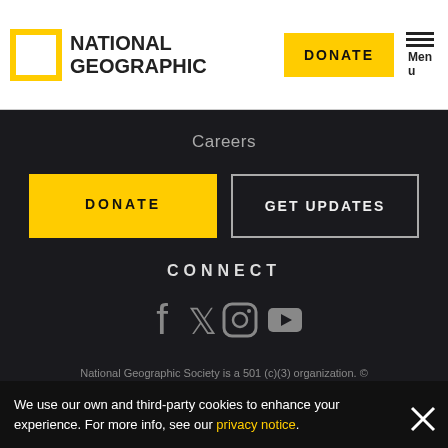NATIONAL GEOGRAPHIC — DONATE — Menu
Careers
DONATE
GET UPDATES
CONNECT
[Figure (illustration): Social media icons: Facebook, Twitter, Instagram, YouTube]
National Geographic Society is a 501 (c)(3) organization. © 1996 - 2019 National Geographic Society. All rights reserved. Privacy Notice | Sustainability Policy | Terms of Service | Code of Ethics
We use our own and third-party cookies to enhance your experience. For more info, see our privacy notice.